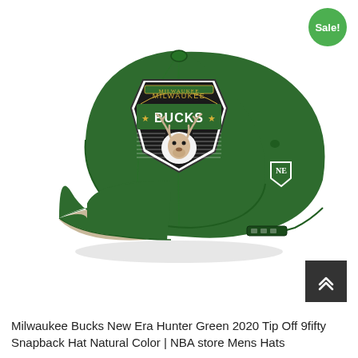[Figure (photo): Milwaukee Bucks New Era Hunter Green 9fifty Snapback Hat on white background, showing front and side view with Milwaukee Bucks shield logo patch. A green circle 'Sale!' badge is in the top right corner. A dark scroll-to-top button with double chevron is in the bottom right area.]
Milwaukee Bucks New Era Hunter Green 2020 Tip Off 9fifty Snapback Hat Natural Color | NBA store Mens Hats